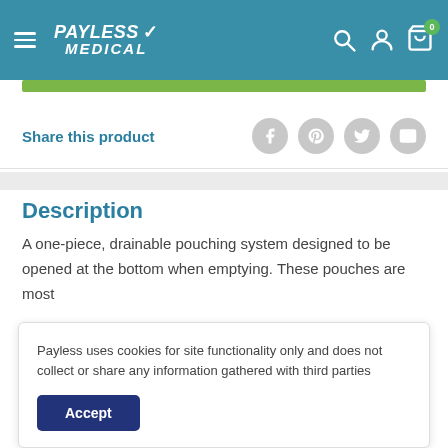Payless Medical
[Figure (screenshot): Green button/bar below header navigation]
Share this product
Description
A one-piece, drainable pouching system designed to be opened at the bottom when emptying. These pouches are most
Payless uses cookies for site functionality only and does not collect or share any information gathered with third parties
Accept
bottom of the pouch. Soft, beige ComfortWear pouch panels